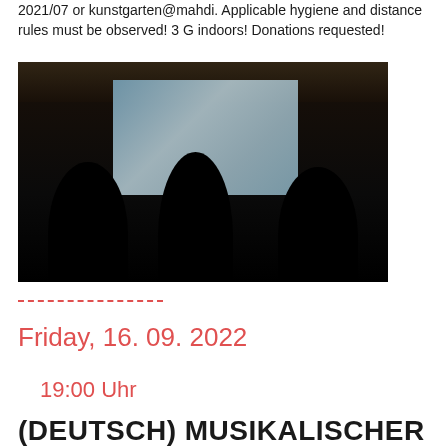2021/07 or kunstgarten@mahdi. Applicable hygiene and distance rules must be observed! 3 G indoors! Donations requested!
[Figure (photo): Dark room/barn interior with audience silhouettes in foreground watching a projected screen showing a street/canal scene. Wooden ceiling beams visible above.]
Friday, 16. 09. 2022
19:00 Uhr
(DEUTSCH) MUSIKALISCHER